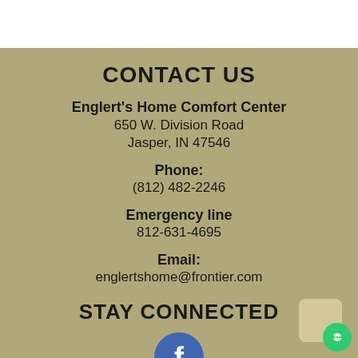CONTACT US
Englert's Home Comfort Center
650 W. Division Road
Jasper, IN 47546
Phone:
(812) 482-2246
Emergency line
812-631-4695
Email:
englertshome@frontier.com
STAY CONNECTED
[Figure (logo): Facebook logo icon — blue circle with white lowercase f]
CUSTOMER SERVICE